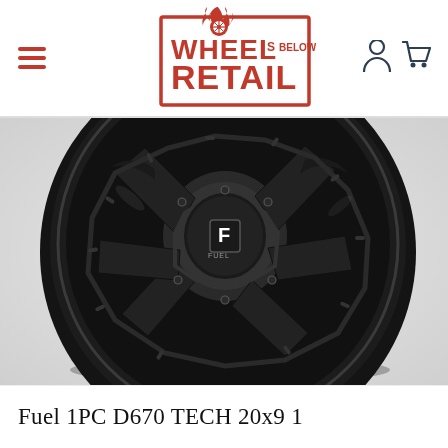[Figure (logo): Wheels Below Retail logo with flame and wheel icon, red text in rectangular border]
[Figure (photo): Fuel 1PC D670 TECH wheel in matte black finish, 20x9 size, photographed at angle showing spoke design and center cap with F FUEL logo]
Fuel 1PC D670 TECH 20x9 1